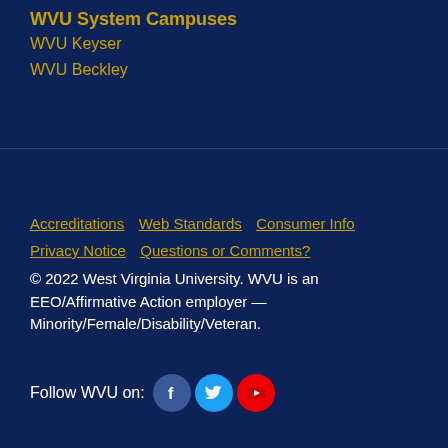WVU System Campuses
WVU Keyser
WVU Beckley
Accreditations  Web Standards  Consumer Info  Privacy Notice  Questions or Comments?
© 2022 West Virginia University. WVU is an EEO/Affirmative Action employer — Minority/Female/Disability/Veteran.
Follow WVU on: